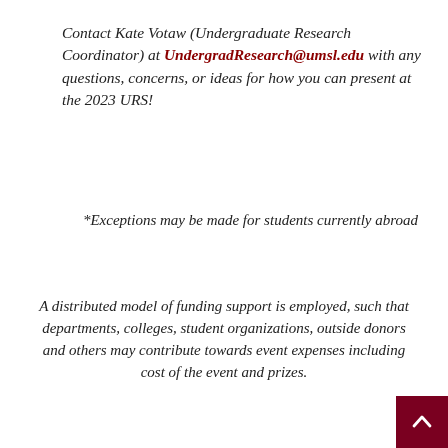Contact Kate Votaw (Undergraduate Research Coordinator) at UndergradResearch@umsl.edu with any questions, concerns, or ideas for how you can present at the 2023 URS!
*Exceptions may be made for students currently abroad
A distributed model of funding support is employed, such that departments, colleges, student organizations, outside donors and others may contribute towards event expenses including cost of the event and prizes.